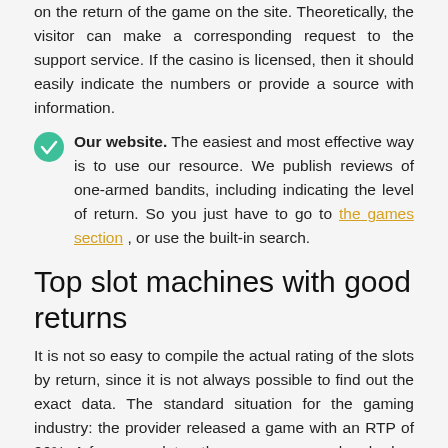on the return of the game on the site. Theoretically, the visitor can make a corresponding request to the support service. If the casino is licensed, then it should easily indicate the numbers or provide a source with information.
Our website. The easiest and most effective way is to use our resource. We publish reviews of one-armed bandits, including indicating the level of return. So you just have to go to the games section , or use the built-in search.
Top slot machines with good returns
It is not so easy to compile the actual rating of the slots by return, since it is not always possible to find out the exact data. The standard situation for the gaming industry: the provider released a game with an RTP of 96%. A few years later, the company was absorbed or ceased to exist, and someone else bought out its portfolio or inherited it. The new copyright owner decided to make adjustments to the